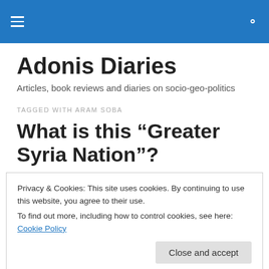Adonis Diaries — navigation header with hamburger menu and search icon
Adonis Diaries
Articles, book reviews and diaries on socio-geo-politics
TAGGED WITH ARAM SOBA
What is this “Greater Syria Nation”?
Privacy & Cookies: This site uses cookies. By continuing to use this website, you agree to their use.
To find out more, including how to control cookies, see here: Cookie Policy
Close and accept